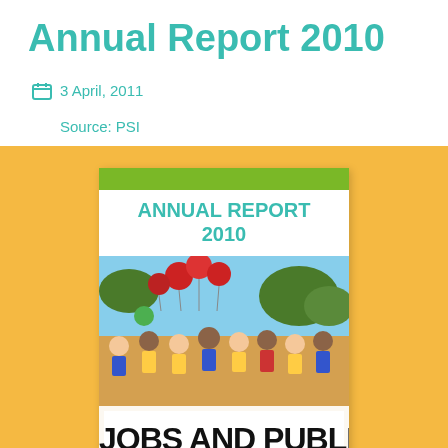Annual Report 2010
3 April, 2011
Source: PSI
[Figure (photo): Cover of PSI Annual Report 2010 showing a protest march with people holding a banner reading 'JOBS AND PUBLIC' with red balloons in the background]
In the face of widening cuts to public services and attacks on the rights of public sector workers around the world, leaders of private